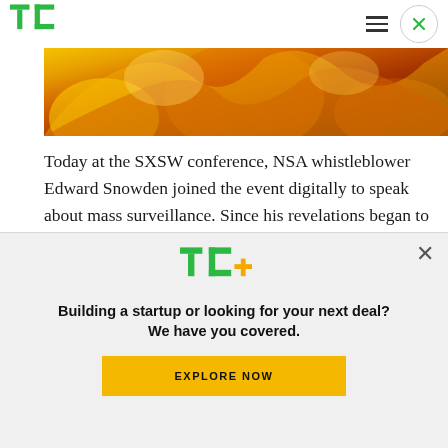TechCrunch header with logo, hamburger menu, and close button
[Figure (photo): Close-up photograph of fire/flames with orange, yellow, and red hues]
Today at the SXSW conference, NSA whistleblower Edward Snowden joined the event digitally to speak about mass surveillance. Since his revelations began to spill last summer, Snowden has been a lightning rod for discussion regarding the proper
[Figure (infographic): TechCrunch Plus advertisement overlay with TC+ logo, headline 'Building a startup or looking for your next deal? We have you covered.' and an EXPLORE NOW button]